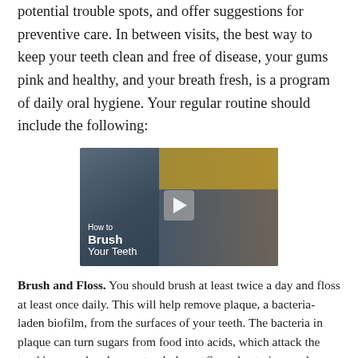potential trouble spots, and offer suggestions for preventive care. In between visits, the best way to keep your teeth clean and free of disease, your gums pink and healthy, and your breath fresh, is a program of daily oral hygiene. Your regular routine should include the following:
[Figure (photo): Video thumbnail showing a woman brushing her teeth, with a play button overlay and text reading 'How to Brush Your Teeth']
Brush and Floss. You should brush at least twice a day and floss at least once daily. This will help remove plaque, a bacteria-laden biofilm, from the surfaces of your teeth. The bacteria in plaque can turn sugars from food into acids, which attack the tooth's enamel and cause tooth decay. Some bacteria can also cause gingivitis and other gum diseases.